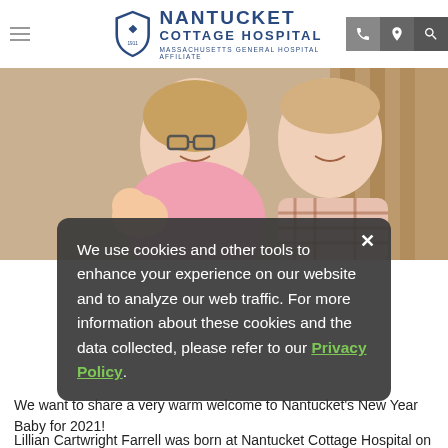Nantucket Cottage Hospital — Massachusetts General Hospital Affiliate
[Figure (photo): A smiling couple holding a newborn baby in a hospital setting. The woman is wearing a pink floral hospital gown and glasses; the man is wearing a plaid shirt.]
We use cookies and other tools to enhance your experience on our website and to analyze our web traffic. For more information about these cookies and the data collected, please refer to our Privacy Policy.
We want to share a very warm welcome to Nantucket's New Year Baby for 2021!
Lillian Cartwright Farrell was born at Nantucket Cottage Hospital on Jan. 1, 2021 at 12:44 p.m., weighing 7 pounds, 2 ounces, measuring 19 inches, and is the first baby born on the island in 2021.